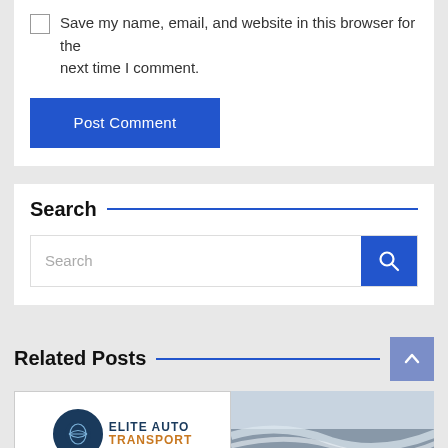Save my name, email, and website in this browser for the next time I comment.
[Figure (screenshot): Blue 'Post Comment' button]
Search
[Figure (screenshot): Search input box with blue search button icon]
Related Posts
[Figure (screenshot): Two related post images: Elite Auto Transport logo on left, landscape photo on right]